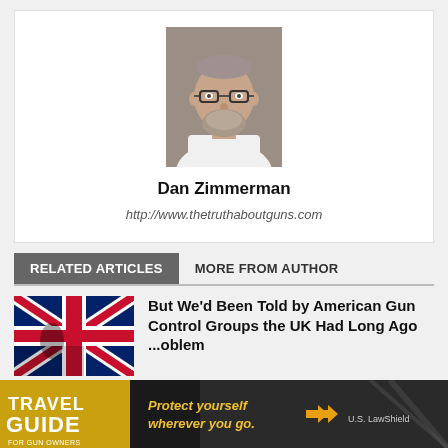[Figure (photo): Headshot photo of Dan Zimmerman, a bald man with a beard wearing glasses and a white shirt]
Dan Zimmerman
http://www.thetruthaboutguns.com
RELATED ARTICLES
MORE FROM AUTHOR
[Figure (photo): Thumbnail image of a UK/British flag]
But We'd Been Told by American Gun Control Groups the UK Had Long Ago ...oblem
[Figure (photo): Advertisement banner: Travel Guide for Gun Owners / Protect yourself wherever you go / US LawShield]